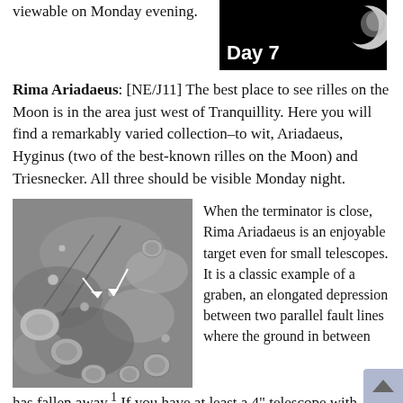viewable on Monday evening.
[Figure (photo): Day 7 moon phase photo — crescent moon against black background with 'Day 7' label in white text]
Rima Ariadaeus: [NE/J11] The best place to see rilles on the Moon is in the area just west of Tranquillity. Here you will find a remarkably varied collection–to wit, Ariadaeus, Hyginus (two of the best-known rilles on the Moon) and Triesnecker. All three should be visible Monday night.
[Figure (photo): Grayscale telescopic photograph of lunar surface showing rilles (Rima Ariadaeus area) with two white arrows pointing to features, craters visible across the surface.]
When the terminator is close, Rima Ariadaeus is an enjoyable target even for small telescopes. It is a classic example of a graben, an elongated depression between two parallel fault lines where the ground in between has fallen away.¹ If you have at least a 4" telescope with